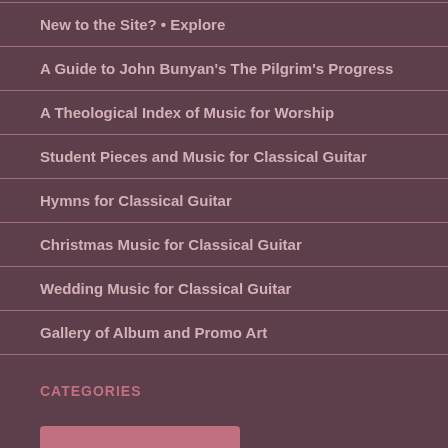New to the Site? • Explore
A Guide to John Bunyan's The Pilgrim's Progress
A Theological Index of Music for Worship
Student Pieces and Music for Classical Guitar
Hymns for Classical Guitar
Christmas Music for Classical Guitar
Wedding Music for Classical Guitar
Gallery of Album and Promo Art
CATEGORIES